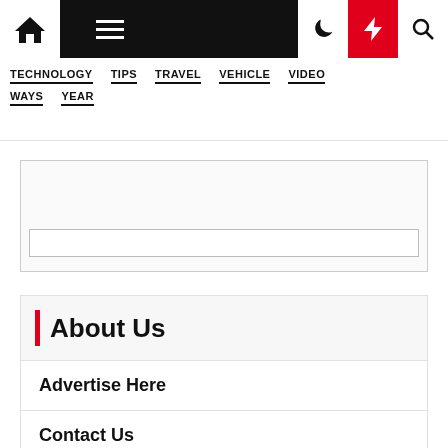Navigation bar with home, menu, moon, lightning, search icons
TECHNOLOGY  TIPS  TRAVEL  VEHICLE  VIDEO
WAYS  YEAR
[Figure (other): Advertisement placeholder box with inner bar]
About Us
Advertise Here
Contact Us
Privacy Policy
Sitemap